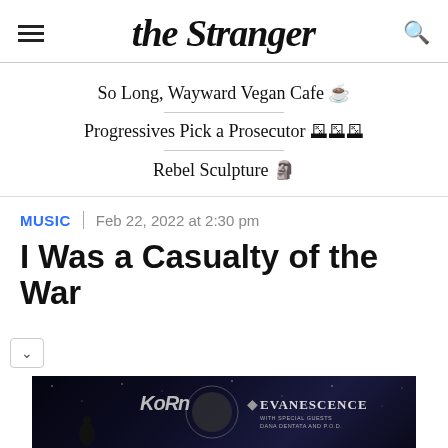the Stranger
So Long, Wayward Vegan Cafe ☕
Progressives Pick a Prosecutor 🗳️
Rebel Sculpture 🗿
MUSIC | Feb 22, 2022 at 2:30 pm
I Was a Casualty of the War
[Figure (photo): Advertisement banner for Korn and Evanescence concert with special guests Dana Dentata and P.O.D., dark space-themed background with figure silhouette]